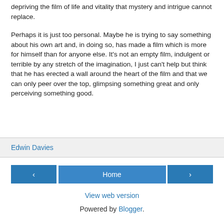depriving the film of life and vitality that mystery and intrigue cannot replace.
Perhaps it is just too personal. Maybe he is trying to say something about his own art and, in doing so, has made a film which is more for himself than for anyone else. It's not an empty film, indulgent or terrible by any stretch of the imagination, I just can't help but think that he has erected a wall around the heart of the film and that we can only peer over the top, glimpsing something great and only perceiving something good.
Edwin Davies
‹
Home
›
View web version
Powered by Blogger.